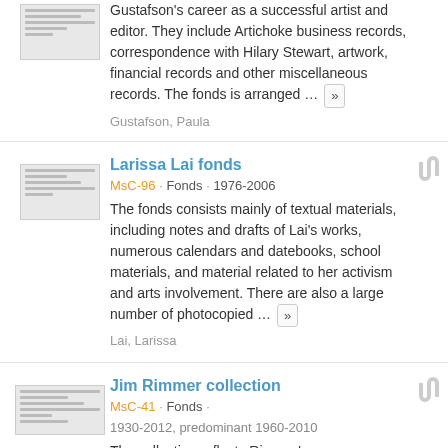Gustafson's career as a successful artist and editor. They include Artichoke business records, correspondence with Hilary Stewart, artwork, financial records and other miscellaneous records. The fonds is arranged ...
Gustafson, Paula
Larissa Lai fonds
MsC-96 · Fonds · 1976-2006
The fonds consists mainly of textual materials, including notes and drafts of Lai's works, numerous calendars and datebooks, school materials, and material related to her activism and arts involvement. There are also a large number of photocopied ...
Lai, Larissa
Jim Rimmer collection
MsC-41 · Fonds ·
1930-2012, predominant 1960-2010
The collection reflects Rimmer's career as a designer, illustrator, printer, and publisher, and his involvement with members of the printing